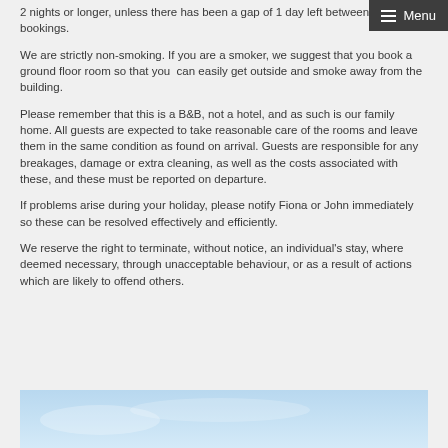2 nights or longer, unless there has been a gap of 1 day left between longer bookings.
We are strictly non-smoking. If you are a smoker, we suggest that you book a ground floor room so that you can easily get outside and smoke away from the building.
Please remember that this is a B&B, not a hotel, and as such is our family home. All guests are expected to take reasonable care of the rooms and leave them in the same condition as found on arrival. Guests are responsible for any breakages, damage or extra cleaning, as well as the costs associated with these, and these must be reported on departure.
If problems arise during your holiday, please notify Fiona or John immediately so these can be resolved effectively and efficiently.
We reserve the right to terminate, without notice, an individual's stay, where deemed necessary, through unacceptable behaviour, or as a result of actions which are likely to offend others.
[Figure (photo): Partial view of a light blue sky or coastal scene at the bottom of the page]